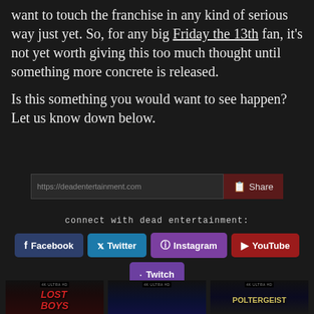want to touch the franchise in any kind of serious way just yet. So, for any big Friday the 13th fan, it's not yet worth giving this too much thought until something more concrete is released.
Is this something you would want to see happen? Let us know down below.
https://deadentertainment.com
Share
connect with dead entertainment:
Facebook
Twitter
Instagram
YouTube
Twitch
[Figure (photo): Three movie covers visible at bottom: The Lost Boys, an unidentified movie, and Poltergeist — all in 4K Ultra HD format]
The Lost Boys | unidentified | Poltergeist — 4K UHD covers